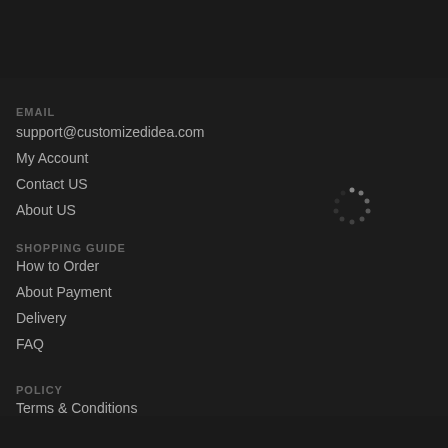EMAIL
support@customizedidea.com
My Account
Contact US
About US
[Figure (other): Loading spinner dots in circular arrangement]
SHOPPING GUIDE
How to Order
About Payment
Delivery
FAQ
POLICY
Terms & Conditions